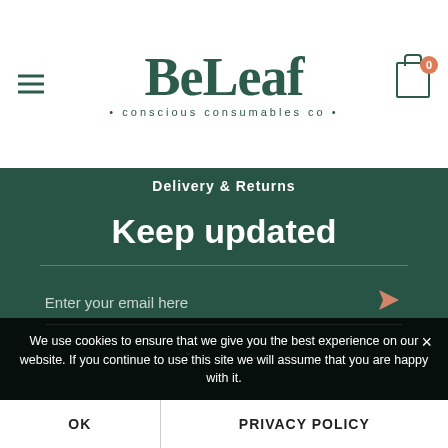[Figure (logo): BeLeaf conscious consumables co logo with hamburger menu and cart icon]
Delivery & Returns
Keep updated
Enter your email here
- . .
We use cookies to ensure that we give you the best experience on our website. If you continue to use this site we will assume that you are happy with it.
OK
PRIVACY POLICY